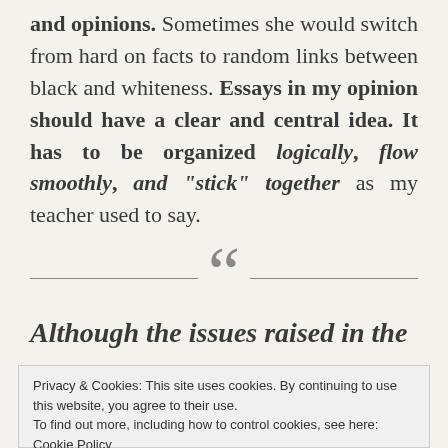and opinions. Sometimes she would switch from hard on facts to random links between black and whiteness. Essays in my opinion should have a clear and central idea. It has to be organized logically, flow smoothly, and "stick" together as my teacher used to say.
[Figure (other): Decorative divider with large open quotation mark (66) centered between two horizontal lines]
Although the issues raised in the
Privacy & Cookies: This site uses cookies. By continuing to use this website, you agree to their use. To find out more, including how to control cookies, see here: Cookie Policy
Close and accept